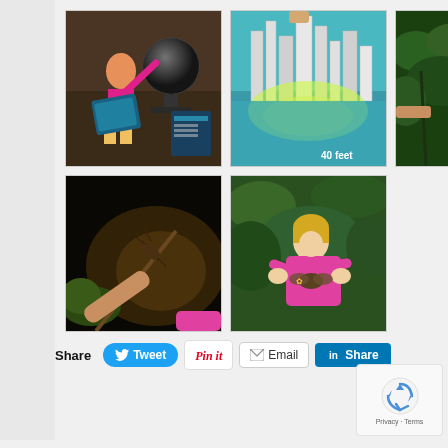[Figure (photo): A young girl in a pink shirt and yellow skirt pointing at a museum interactive display with a globe in the background]
[Figure (photo): A 3D model of a city skyline with a teal/blue flood simulation showing water rising around skyscrapers, text reads '40 feet']
[Figure (photo): Close up of green plants and foliage with a person's arms/hands visible, appears to be a garden exhibit]
[Figure (photo): A dark image of a person's hand holding a stick insect or similar insect against a dimly lit terrarium background]
[Figure (photo): A young blonde girl in a pink long-sleeve shirt holding a small animal/butterfly in a lush green garden exhibit]
Share
[Figure (screenshot): Social sharing buttons: Tweet (Twitter/blue), Pin it (Pinterest/red italic), Email, Share (LinkedIn/blue)]
[Figure (screenshot): Google reCAPTCHA widget with spinning arrows icon and Privacy · Terms text]